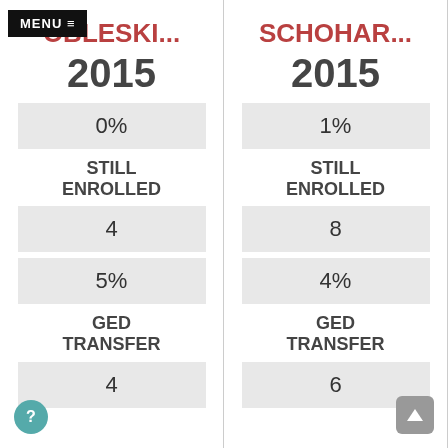MENU ≡
OBLESKI...
SCHOHAR...
2015
2015
0%
1%
STILL ENROLLED
STILL ENROLLED
4
8
5%
4%
GED TRANSFER
GED TRANSFER
4
6